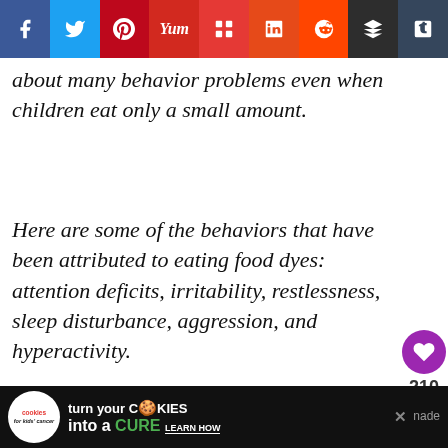[Figure (infographic): Social media sharing bar with icons for Facebook, Twitter, Pinterest, Yummly, Flipboard, Mix, Reddit, Buffer, and Tumblr]
about many behavior problems even when children eat only a small amount.
Here are some of the behaviors that have been attributed to eating food dyes: attention deficits, irritability, restlessness, sleep disturbance, aggression, and hyperactivity.
[Figure (infographic): Advertisement banner: Cookies for Kids Cancer – turn your COOKIES into a CURE LEARN HOW]